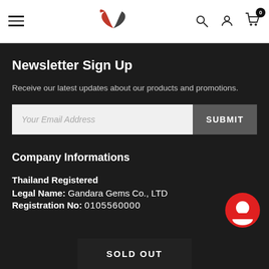Navigation bar with hamburger menu, Gandara Gems logo, search, account, and cart icons
Newsletter Sign Up
Receive our latest updates about our products and promotions.
Your Email Address [input] SUBMIT [button]
Company Informations
Thailand Registered
Legal Name: Gandara Gems Co., LTD
Registration number: (partially visible)
SOLD OUT